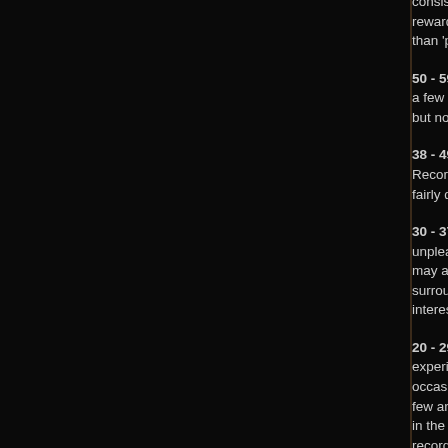consistently more inconsistent, have a couple of diamonds... reward repeat plays. Albums in this bracket are more than 'pretty good'.
50 - 59: Rather average or mediocre albums that will b... a few stronger songs here and there. Also albums tha... but not necessarily realised that well.
38 - 49: Mediocre. Will possibly have one or two worth... Records in this bracket are not usually outright bad bu... fairly dull and not really worth a listen.
30 - 37: Starting to stink. Albums which are not just du... unpleasant listening experiences, or exceptionally bor... may also signify an album which has one very good o... surrounded by a pile of crap, or a musical experiment... interesting but doesn't work.
20 - 29: Really stinking now. Generally not recommende... experience and it is advised to avoid these records. Th... occasionally be a half decent song here and there, bu... few and far between. If a pretty poor album which wou... in the above bracket is made by a band with a previou... record, it may end up here as the band in question sh... known better.
10 - 19: Not many redeeming features at all, general g... part.